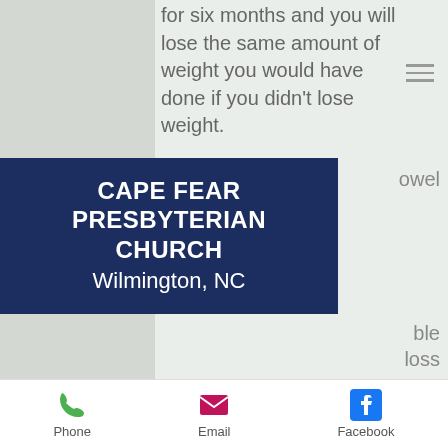for six months and you will lose the same amount of weight you would have done if you didn't lose weight.
[Figure (screenshot): Cape Fear Presbyterian Church, Wilmington, NC banner overlay on top of article content]
owel
ble loss efforts.
This may arise because of the way the body processes the foods you eat.
Your digestive system breaks down fiber, which can cause abdominal bloating and gas.
Your body will absorb the fiber easily, but
Phone  Email  Facebook